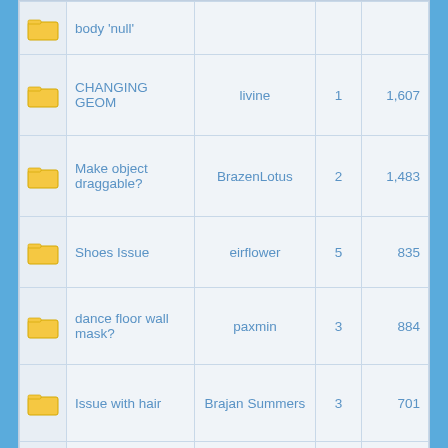|  | Topic | Author | Replies | Views |
| --- | --- | --- | --- | --- |
| [folder] | body 'null' |  |  |  |
| [folder] | CHANGING GEOM | livine | 1 | 1,607 |
| [folder] | Make object draggable? | BrazenLotus | 2 | 1,483 |
| [folder] | Shoes Issue | eirflower | 5 | 835 |
| [folder] | dance floor wall mask? | paxmin | 3 | 884 |
| [folder] | Issue with hair | Brajan Summers | 3 | 701 |
| [folder] | I fixed some T-shirts | FallenNights | 4 | 827 |
| [folder] | Chef station |  |  |  |